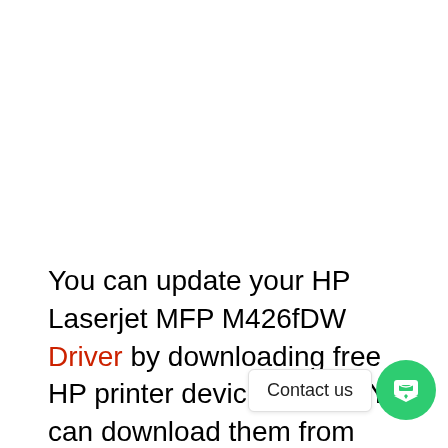You can update your HP Laserjet MFP M426fDW Driver by downloading free HP printer device drivers. You can download them from MPdriv, a company that provides free HP printer software. This software is licensed under the official copyright er must agree to the license agreement by using